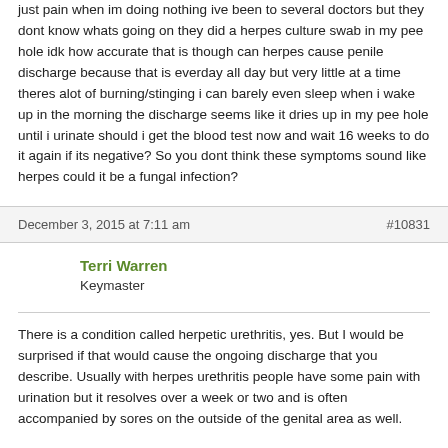just pain when im doing nothing ive been to several doctors but they dont know whats going on they did a herpes culture swab in my pee hole idk how accurate that is though can herpes cause penile discharge because that is everday all day but very little at a time theres alot of burning/stinging i can barely even sleep when i wake up in the morning the discharge seems like it dries up in my pee hole until i urinate should i get the blood test now and wait 16 weeks to do it again if its negative? So you dont think these symptoms sound like herpes could it be a fungal infection?
December 3, 2015 at 7:11 am
#10831
Terri Warren
Keymaster
There is a condition called herpetic urethritis, yes. But I would be surprised if that would cause the ongoing discharge that you describe. Usually with herpes urethritis people have some pain with urination but it resolves over a week or two and is often accompanied by sores on the outside of the genital area as well.